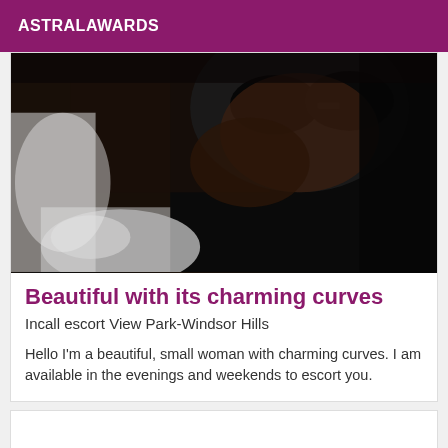ASTRALAWARDS
[Figure (photo): Dark photo of a person wearing sunglasses and white clothing, taken at close range in low light conditions.]
Beautiful with its charming curves
Incall escort View Park-Windsor Hills
Hello I'm a beautiful, small woman with charming curves. I am available in the evenings and weekends to escort you.